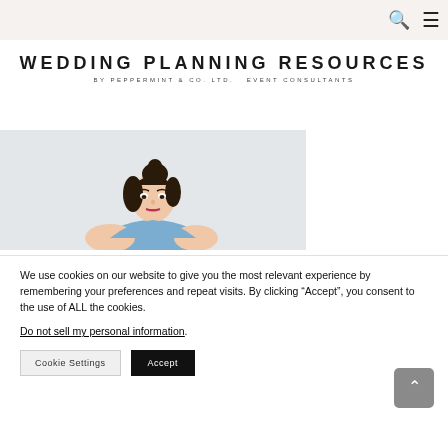Navigation bar with search and menu icons
WEDDING PLANNING RESOURCES by PEPPERMINT & CO. LTD. EVENT CONSULTANTS
[Figure (photo): A woman with dark hair in a bun wearing an off-shoulder blue top, photographed against a light grey background]
We use cookies on our website to give you the most relevant experience by remembering your preferences and repeat visits. By clicking “Accept”, you consent to the use of ALL the cookies. Do not sell my personal information.